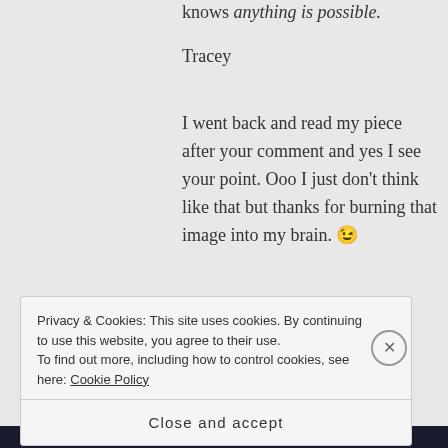knows anything is possible.
Tracey
I went back and read my piece after your comment and yes I see your point. Ooo I just don't think like that but thanks for burning that image into my brain. 😉
★ Like
Privacy & Cookies: This site uses cookies. By continuing to use this website, you agree to their use.
To find out more, including how to control cookies, see here: Cookie Policy
Close and accept